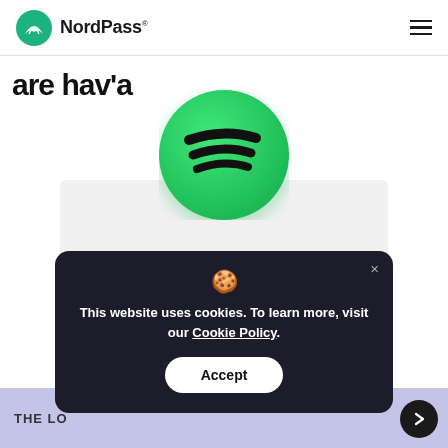[Figure (logo): NordPass logo with teal mountain/shield icon and 'NordPass' wordmark in bold black, plus hamburger menu icon on the right]
are hav'a
[Figure (logo): Spotify 3D green circle logo with black sound-wave stripes, centered on the page]
This website uses cookies. To learn more, visit our Cookie Policy.
Accept
THE LO